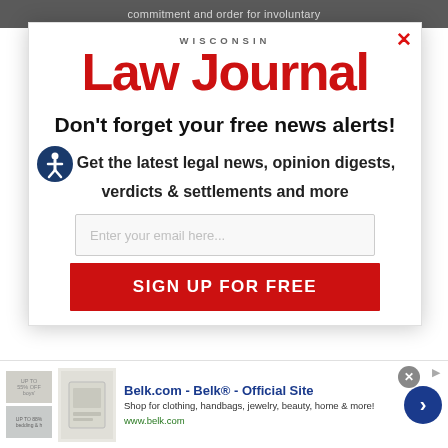commitment and order for involuntary
[Figure (logo): Wisconsin Law Journal logo — red serif text on white background]
Don't forget your free news alerts!
Get the latest legal news, opinion digests, verdicts & settlements and more
Enter your email here...
SIGN UP FOR FREE
[Figure (infographic): Belk.com advertisement banner — Belk® Official Site, shop for clothing, handbags, jewelry, beauty, home & more. www.belk.com]